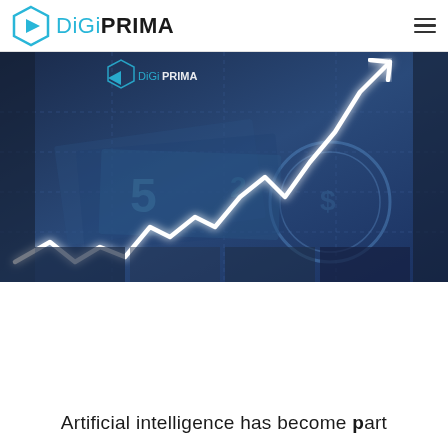DiGiPRIMA
[Figure (illustration): Financial chart with glowing white zigzag/upward trending line graph overlaid on blue-toned background showing US dollar bills and financial imagery. DigiPrima logo watermark in upper left of image.]
Artificial intelligence has become part